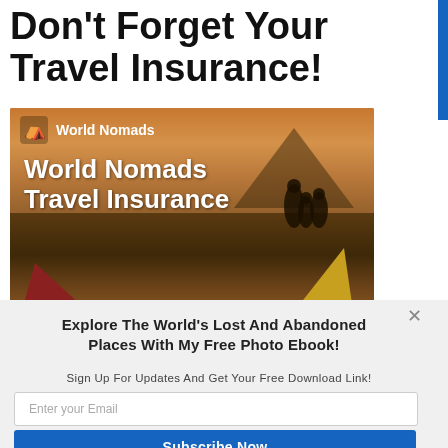Don't Forget Your Travel Insurance!
[Figure (photo): World Nomads Travel Insurance advertisement banner showing silhouettes of people sitting on a hilltop with tents and mountains in the background at golden hour. White World Nomads logo and text 'World Nomads Travel Insurance' overlaid on the image.]
Explore The World's Lost And Abandoned Places With My Free Photo Ebook!
Sign Up For Updates And Get Your Free Download Link!
Enter your Email
Subscribe Now